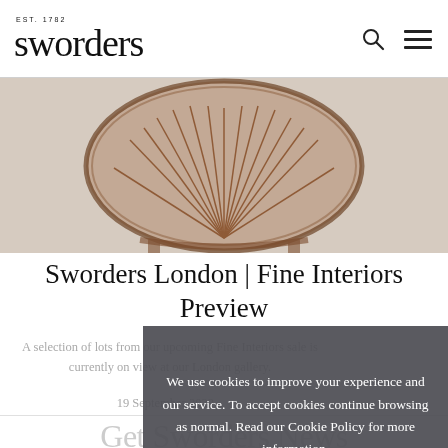EST. 1782 sworders
[Figure (photo): Close-up photograph of an antique mahogany chair with carved shell-back detail and beaded frame, viewed from above/behind showing the ornate carved wooden backrest]
Sworders London | Fine Interiors Preview
A selection of lots from our upcoming Fine Interiors sale is currently on view at our London gallery.
19 September 2022...
We use cookies to improve your experience and our service. To accept cookies continue browsing as normal. Read our Cookie Policy for more information.
Ok
Get Sworders News